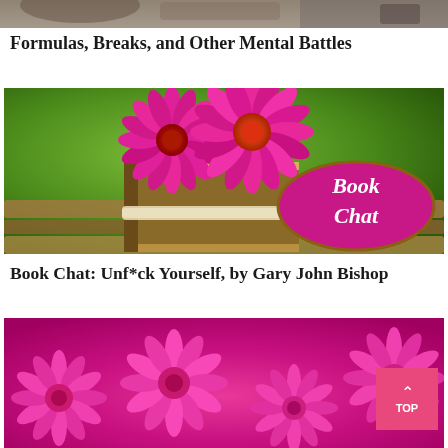[Figure (photo): Partial top image of a person at a desk, cropped at bottom]
Formulas, Breaks, and Other Mental Battles
[Figure (photo): A vintage book with pink gerbera flowers on top sitting on a wooden bench, with a 'Book Chat' overlay badge in pink oval]
Book Chat: Unf*ck Yourself, by Gary John Bishop
[Figure (photo): Pink gerbera flowers, partial view at the bottom of the page]
[Figure (other): Top button overlay with up arrow and 'TOP' text]